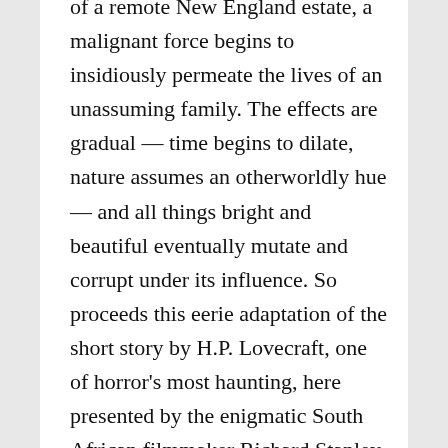of a remote New England estate, a malignant force begins to insidiously permeate the lives of an unassuming family. The effects are gradual — time begins to dilate, nature assumes an otherworldly hue — and all things bright and beautiful eventually mutate and corrupt under its influence. So proceeds this eerie adaptation of the short story by H.P. Lovecraft, one of horror's most haunting, here presented by the enigmatic South African filmmaker Richard Stanley. … The patriarch of this doomed brood is none other than Nicolas Cage, continuing his recent renaissance as a midnight-movie